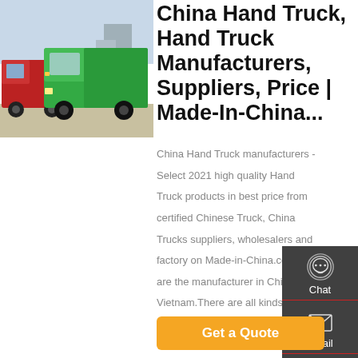[Figure (photo): Green and red heavy trucks parked in a yard with a building in the background]
China Hand Truck, Hand Truck Manufacturers, Suppliers, Price | Made-In-China...
China Hand Truck manufacturers - Select 2021 high quality Hand Truck products in best price from certified Chinese Truck, China Trucks suppliers, wholesalers and factory on Made-in-China.com We are the manufacturer in China and Vietnam.There are all kinds of
[Figure (other): Sidebar with Chat, Email, Contact, and Top navigation icons on dark background]